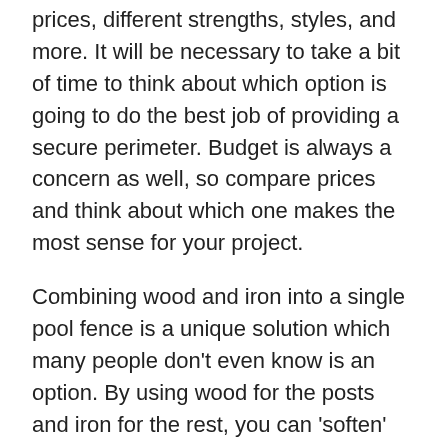prices, different strengths, styles, and more. It will be necessary to take a bit of time to think about which option is going to do the best job of providing a secure perimeter. Budget is always a concern as well, so compare prices and think about which one makes the most sense for your project.
Combining wood and iron into a single pool fence is a unique solution which many people don't even know is an option. By using wood for the posts and iron for the rest, you can 'soften' up the look of a standard iron pool fence, which some people feel is a bit cold and harsh. Adding wood is a great way to warm up your décor while still benefitting from the structure and strength of iron. No matter which way you go, adding a quality metal pool safety fence to your property is a smart choice. How can you choose which option will yield the best-looking installation with the longevity you desire? Let's break